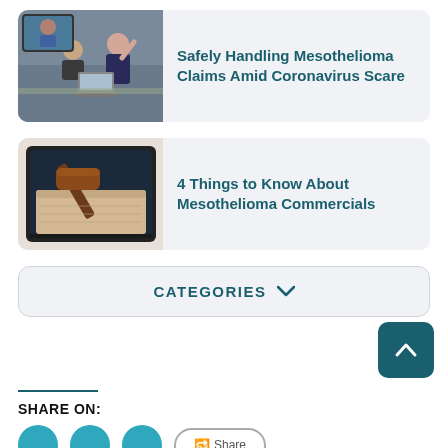[Figure (photo): Photo of people in a video conference meeting setting]
Safely Handling Mesothelioma Claims Amid Coronavirus Scare
[Figure (photo): Photo of a wooden gavel on a book displayed on a TV/monitor screen]
4 Things to Know About Mesothelioma Commercials
CATEGORIES ∨
SHARE ON: